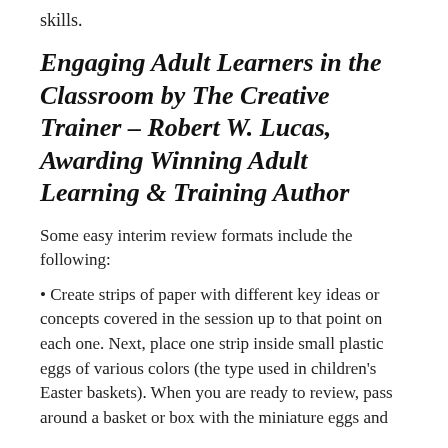skills.
Engaging Adult Learners in the Classroom by The Creative Trainer – Robert W. Lucas, Awarding Winning Adult Learning & Training Author
Some easy interim review formats include the following:
• Create strips of paper with different key ideas or concepts covered in the session up to that point on each one. Next, place one strip inside small plastic eggs of various colors (the type used in children's Easter baskets). When you are ready to review, pass around a basket or box with the miniature eggs and...